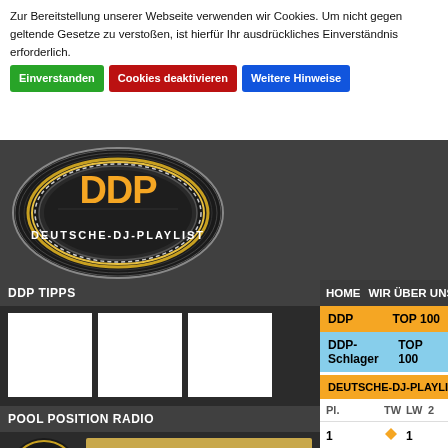Zur Bereitstellung unserer Webseite verwenden wir Cookies. Um nicht gegen geltende Gesetze zu verstoßen, ist hierfür Ihr ausdrückliches Einverständnis erforderlich.
Einverstanden | Cookies deaktivieren | Weitere Hinweise
[Figure (logo): DDP Deutsche-DJ-Playlist logo - oval vinyl record with orange DDP text and white Deutsche-DJ-Playlist text]
DDP TIPPS
[Figure (other): Three white placeholder image boxes in DDP TIPPS section]
POOL POSITION RADIO
[Figure (other): Pool Position Radio logo circle and RADIO starten button]
HOME  WIR ÜBER UNS
DDP    TOP 100
DDP-Schlager    TOP 100
DEUTSCHE-DJ-PLAYLIST - H...
Pl.    TW  LW  2
1          1